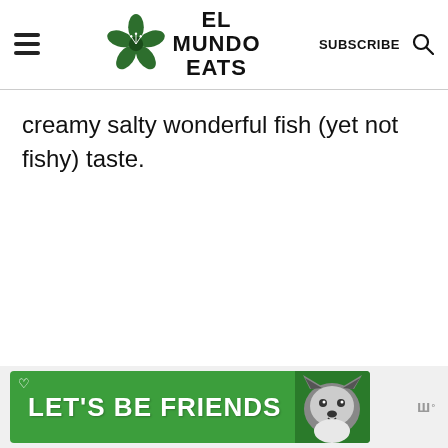EL MUNDO EATS — SUBSCRIBE
creamy salty wonderful fish (yet not fishy) taste.
[Figure (other): Advertisement banner with green background showing LET'S BE FRIENDS text with a husky dog image]